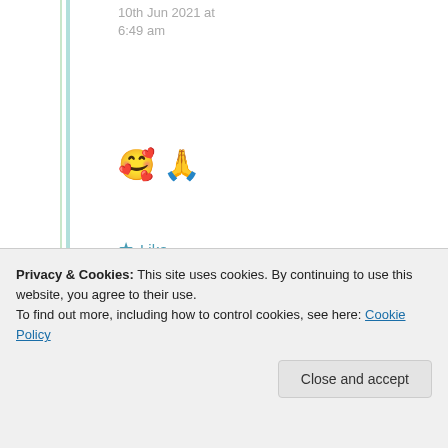10th Jun 2021 at 6:49 am
🥰 🙏
★ Like
Advertisements
[Figure (other): WordPress VIP advertisement banner with orange gradient background and 'Learn more →' button]
REPORT THIS AD
[Figure (photo): User avatar of commenter '009']
009
Privacy & Cookies: This site uses cookies. By continuing to use this website, you agree to their use.
To find out more, including how to control cookies, see here: Cookie Policy
Close and accept